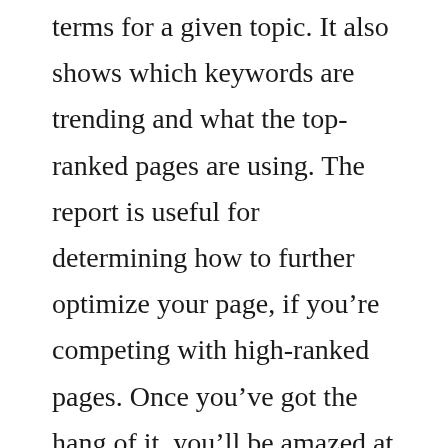terms for a given topic. It also shows which keywords are trending and what the top-ranked pages are using. The report is useful for determining how to further optimize your page, if you’re competing with high-ranked pages. Once you’ve got the hang of it, you’ll be amazed at how much more effective your website will become.
As far as price goes, you’re probably right to be skeptical. The Cora SEO Software is not cheap. You’ll have to pay $250 per month for